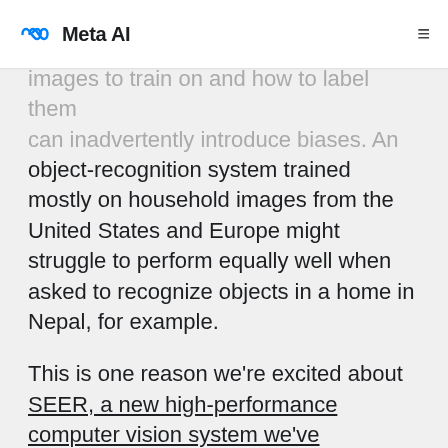Meta AI
images to train on and how to label them can inadvertently introduce biases. An object-recognition system trained mostly on household images from the United States and Europe might struggle to perform equally well when asked to recognize objects in a home in Nepal, for example.
This is one reason we’re excited about SEER, a new high-performance computer vision system we’ve developed. By leveraging self-supervised learning, SEER can learn from any collection of digital images without requiring researchers to curate the collection and label each object.